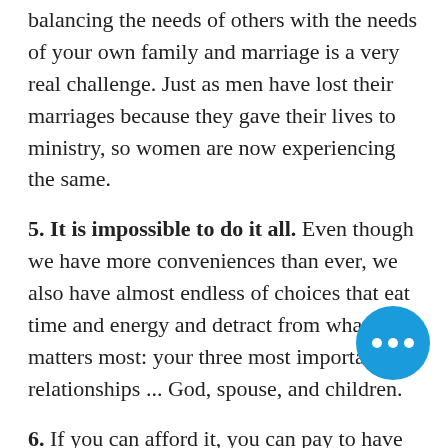balancing the needs of others with the needs of your own family and marriage is a very real challenge. Just as men have lost their marriages because they gave their lives to ministry, so women are now experiencing the same.
5. It is impossible to do it all. Even though we have more conveniences than ever, we also have almost endless of choices that eat time and energy and detract from what matters most: your three most important relationships ... God, spouse, and children.
6. If you can afford it, you can pay to have someone clean your house, cooking food, even do your laundry and gardening and yard work. But you can't pay